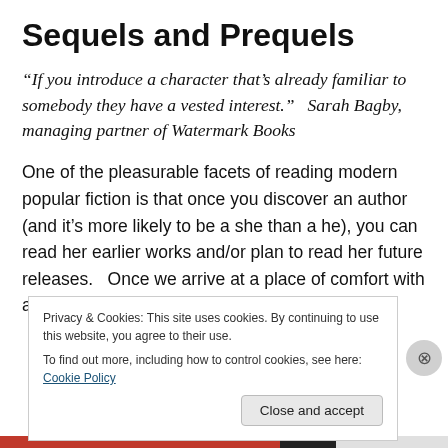Sequels and Prequels
“If you introduce a character that’s already familiar to somebody they have a vested interest.”   Sarah Bagby, managing partner of Watermark Books
One of the pleasurable facets of reading modern popular fiction is that once you discover an author (and it’s more likely to be a she than a he), you can read her earlier works and/or plan to read her future releases.   Once we arrive at a place of comfort with an author, we hope and
Privacy & Cookies: This site uses cookies. By continuing to use this website, you agree to their use.
To find out more, including how to control cookies, see here: Cookie Policy